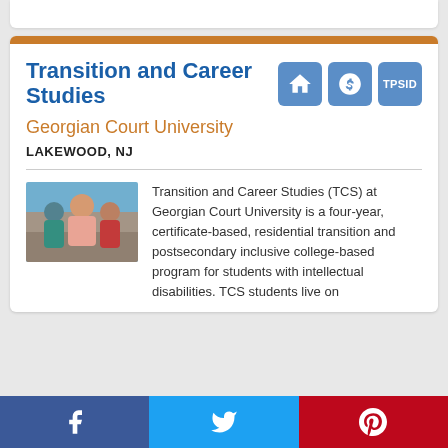Transition and Career Studies
Georgian Court University
LAKEWOOD, NJ
[Figure (photo): Photo of three people posing together at what appears to be an event or classroom setting]
Transition and Career Studies (TCS) at Georgian Court University is a four-year, certificate-based, residential transition and postsecondary inclusive college-based program for students with intellectual disabilities. TCS students live on
[Figure (infographic): Social media share buttons: Facebook (blue), Twitter (light blue), Pinterest (red)]